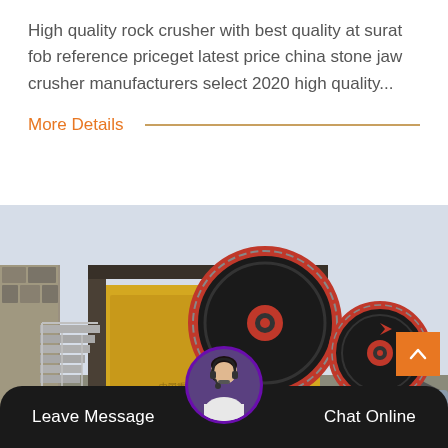High quality rock crusher with best quality at surat fob reference priceget latest price china stone jaw crusher manufacturers select 2020 high quality...
More Details
[Figure (photo): Industrial rock crusher / jaw crusher machine photographed outdoors, showing large black and red pulley wheels, yellow body, metal stairs on left, conveyor belt, and electric motor on right.]
Leave Message
Chat Online